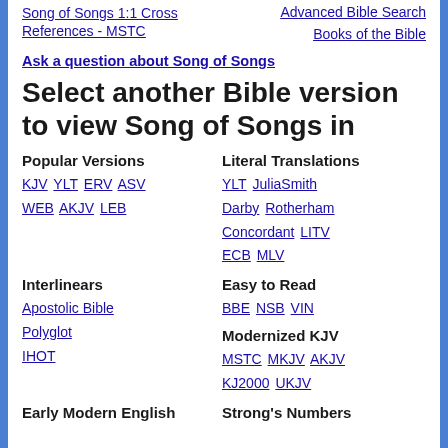Song of Songs 1:1 Cross References - MSTC
Advanced Bible Search
Books of the Bible
Ask a question about Song of Songs
Select another Bible version to view Song of Songs in
Popular Versions
KJV YLT ERV ASV WEB AKJV LEB
Literal Translations
YLT JuliaSmith Darby Rotherham Concordant LITV ECB MLV
Interlinears
Apostolic Bible Polyglot IHOT
Easy to Read
BBE NSB VIN
Modernized KJV
MSTC MKJV AKJV KJ2000 UKJV
Early Modern English
Strong's Numbers